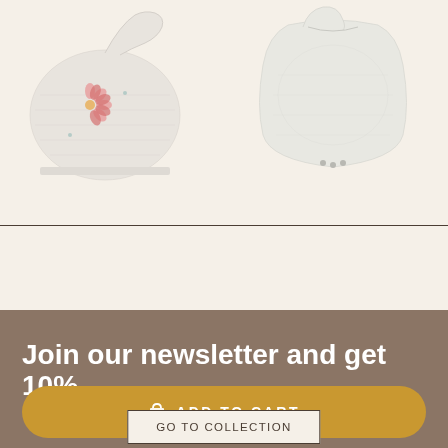[Figure (photo): Baby knit romper/hat with pink flower embroidery on the left, and a white baby bubble romper on the right, on a cream/beige background]
GO TO COLLECTION
Join our newsletter and get 10%
ADD TO CART